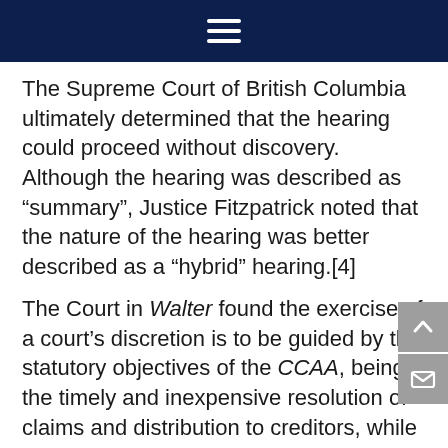Navigation menu icon
The Supreme Court of British Columbia ultimately determined that the hearing could proceed without discovery. Although the hearing was described as “summary”, Justice Fitzpatrick noted that the nature of the hearing was better described as a “hybrid” hearing.[4]
The Court in Walter found the exercise of a court’s discretion is to be guided by the statutory objectives of the CCAA, being the timely and inexpensive resolution of claims and distribution to creditors, while also ensuring the determination of claims is conducted in a manner that is just and fair to all the stakeholders. Those objectives